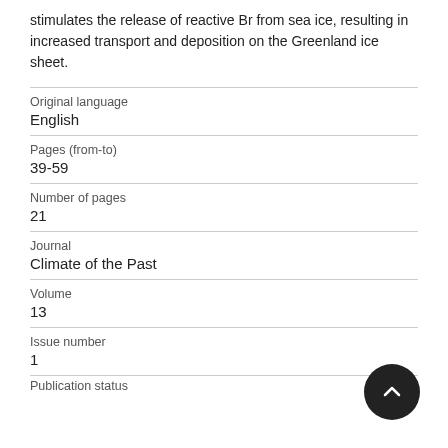stimulates the release of reactive Br from sea ice, resulting in increased transport and deposition on the Greenland ice sheet.
| Original language | English |
| Pages (from-to) | 39-59 |
| Number of pages | 21 |
| Journal | Climate of the Past |
| Volume | 13 |
| Issue number | 1 |
| Publication status |  |